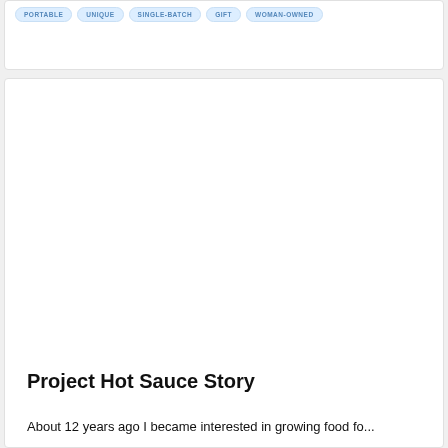PORTABLE | UNIQUE | SINGLE-BATCH | GIFT | WOMAN-OWNED
[Figure (photo): Large image area, white/blank, appears to be a product or project photo placeholder]
Project Hot Sauce Story
About 12 years ago I became interested in growing food for...